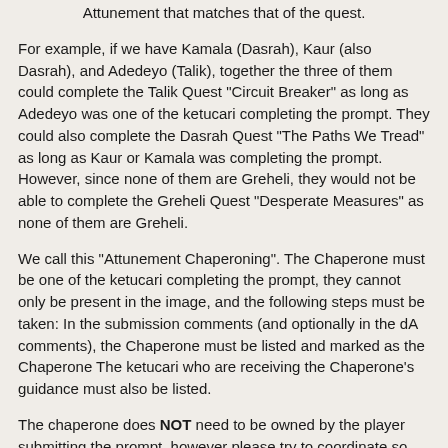Attunement that matches that of the quest.
For example, if we have Kamala (Dasrah), Kaur (also Dasrah), and Adedeyo (Talik), together the three of them could complete the Talik Quest "Circuit Breaker" as long as Adedeyo was one of the ketucari completing the prompt. They could also complete the Dasrah Quest "The Paths We Tread" as long as Kaur or Kamala was completing the prompt. However, since none of them are Greheli, they would not be able to complete the Greheli Quest "Desperate Measures" as none of them are Greheli.
We call this "Attunement Chaperoning". The Chaperone must be one of the ketucari completing the prompt, they cannot only be present in the image, and the following steps must be taken: In the submission comments (and optionally in the dA comments), the Chaperone must be listed and marked as the Chaperone The ketucari who are receiving the Chaperone's guidance must also be listed.
The chaperone does NOT need to be owned by the player submitting the prompt, however please try to coordinate so that all instances of that particular piece being submitted happen at around the same time.